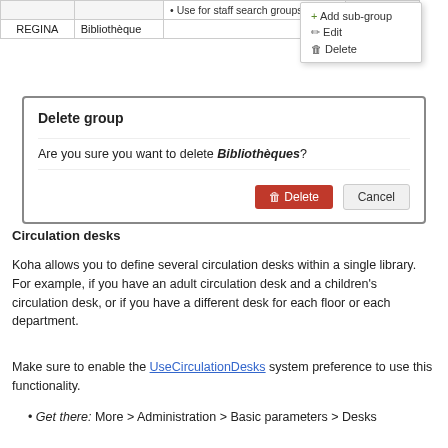|  |  |  |  |
| --- | --- | --- | --- |
|  |  | • Use for staff search groups |  |
| REGINA | Bibliothèque |  |  |
[Figure (screenshot): Dropdown menu with options: + Add sub-group, Edit (pencil icon), Delete (trash icon)]
[Figure (screenshot): Delete group dialog box with message 'Are you sure you want to delete Bibliothèques?' and Delete (red) and Cancel buttons]
Circulation desks
Koha allows you to define several circulation desks within a single library. For example, if you have an adult circulation desk and a children's circulation desk, or if you have a different desk for each floor or each department.
Make sure to enable the UseCirculationDesks system preference to use this functionality.
Get there: More > Administration > Basic parameters > Desks